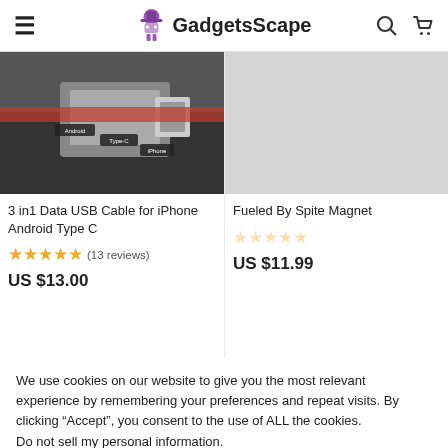GadgetsScape
[Figure (photo): USB cable product photo showing 3-in-1 USB cable with Android, Type-C, and iPhone connectors]
3 in1 Data USB Cable for iPhone Android Type C
★★★★★ (13 reviews)
US $13.00
[Figure (photo): Fueled By Spite Magnet product image (gray/blank)]
Fueled By Spite Magnet
US $11.99
We use cookies on our website to give you the most relevant experience by remembering your preferences and repeat visits. By clicking “Accept”, you consent to the use of ALL the cookies.
Do not sell my personal information.